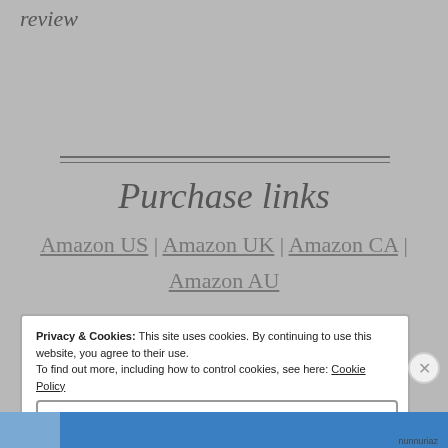review
Purchase links
Amazon US | Amazon UK | Amazon CA | Amazon AU
Privacy & Cookies: This site uses cookies. By continuing to use this website, you agree to their use. To find out more, including how to control cookies, see here: Cookie Policy
Close and accept